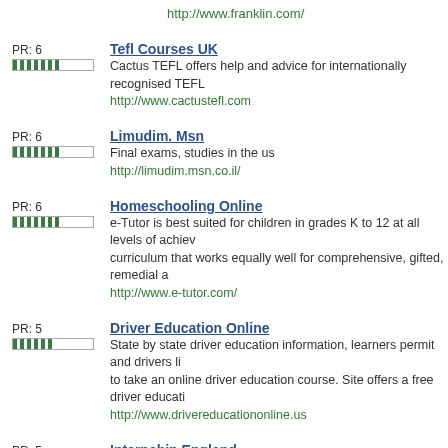http://www.franklin.com/
PR: 6 | Tefl Courses UK | Cactus TEFL offers help and advice for internationally recognised TEFL | http://www.cactustefl.com
PR: 6 | Limudim. Msn | Final exams, studies in the us | http://limudim.msn.co.il/
PR: 6 | Homeschooling Online | e-Tutor is best suited for children in grades K to 12 at all levels of achievement. curriculum that works equally well for comprehensive, gifted, remedial a | http://www.e-tutor.com/
PR: 5 | Driver Education Online | State by state driver education information, learners permit and drivers li to take an online driver education course. Site offers a free driver educati | http://www.drivereducationonline.us
PR: 5 | Internship England | Learn English, computer terms, translation skills, service skills, gain skil | http://www.interntown.com/